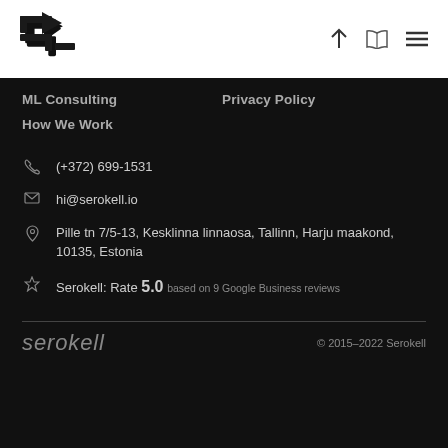Serokell logo with navigation icons (upload, book, menu)
ML Consulting
Privacy Policy
How We Work
(+372) 699-1531
hi@serokell.io
Pille tn 7/5-13, Kesklinna linnaosa, Tallinn, Harju maakond, 10135, Estonia
Serokell: Rate 5.0 based on 9 Google Business reviews
serokell   © 2015–2022 Serokell